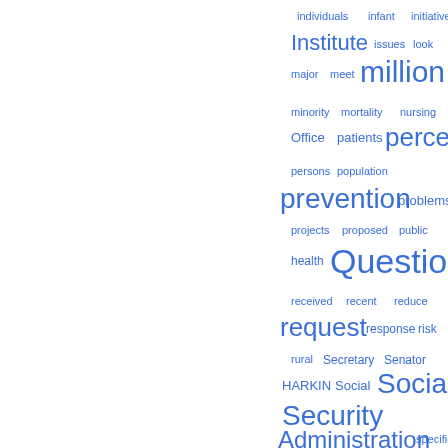[Figure (infographic): Word cloud with terms in varying sizes, all in blue, on a white background. Larger words include 'million', 'percent', 'prevention', 'Question', 'request', 'Social Security Administration'. Smaller words include 'individuals', 'infant', 'initiative', 'Institute', 'issues', 'look', 'major', 'meet', 'minority', 'mortality', 'nursing', 'Office', 'patients', 'persons', 'population', 'problems', 'projects', 'proposed', 'public', 'health', 'received', 'recent', 'reduce', 'response', 'risk', 'rural', 'Secretary', 'Senator', 'HARKIN', 'Social', 'specific', 'staff', 'treatment', 'trials', 'understand', 'UNIV', 'University'.]